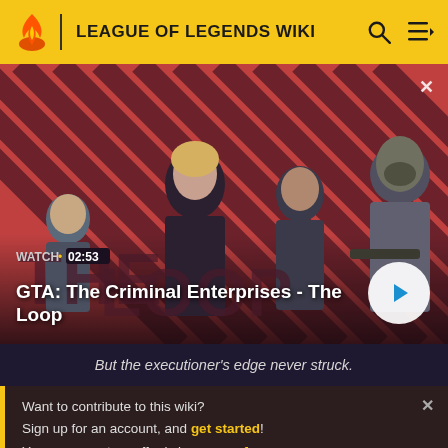LEAGUE OF LEGENDS WIKI
[Figure (screenshot): GTA: The Criminal Enterprises - The Loop video thumbnail showing four characters on a red diagonal striped background with a play button overlay. Duration shown as 02:53.]
GTA: The Criminal Enterprises - The Loop
But the executioner's edge never struck.
Want to contribute to this wiki?
Sign up for an account, and get started!
You can even turn off ads in your preferences.